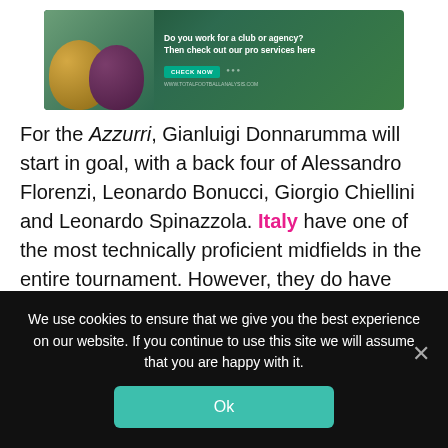[Figure (illustration): Banner advertisement for totalfootballanalysis.com showing two football figures and text 'Do you work for a club or agency? Then check out our pro services here' with a CHECK NOW button and WWW.TOTALFOOTBALLANALYSIS.COM URL]
For the Azzurri, Gianluigi Donnarumma will start in goal, with a back four of Alessandro Florenzi, Leonardo Bonucci, Giorgio Chiellini and Leonardo Spinazzola. Italy have one of the most technically proficient midfields in the entire tournament. However, they do have some injury concerns – Stefano Sensi was ruled out before the start of the tournament, being replaced by Atalanta's Matteo Pessina, while Lorenzo
We use cookies to ensure that we give you the best experience on our website. If you continue to use this site we will assume that you are happy with it.
Ok